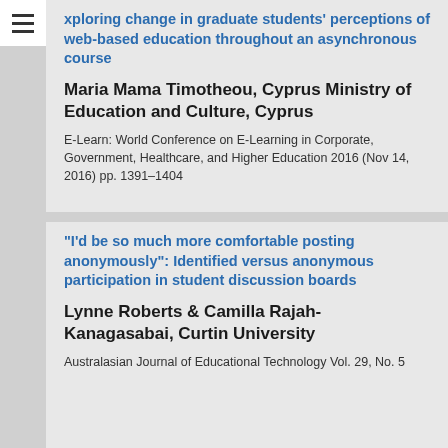Exploring change in graduate students' perceptions of web-based education throughout an asynchronous course
Maria Mama Timotheou, Cyprus Ministry of Education and Culture, Cyprus
E-Learn: World Conference on E-Learning in Corporate, Government, Healthcare, and Higher Education 2016 (Nov 14, 2016) pp. 1391–1404
"I'd be so much more comfortable posting anonymously": Identified versus anonymous participation in student discussion boards
Lynne Roberts & Camilla Rajah-Kanagasabai, Curtin University
Australasian Journal of Educational Technology Vol. 29, No. 5